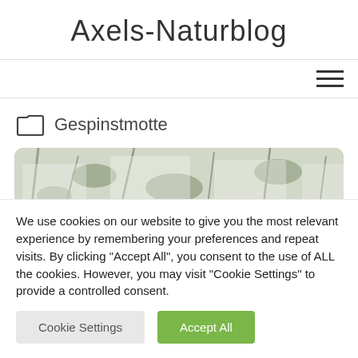Axels-Naturblog
[Figure (screenshot): Hamburger menu icon (three horizontal lines) in top right navigation bar]
Gespinstmotte
[Figure (photo): Photo strip showing tree branches covered in white spider-moth webbing (Gespinstmotte / ermine moth silk)]
We use cookies on our website to give you the most relevant experience by remembering your preferences and repeat visits. By clicking "Accept All", you consent to the use of ALL the cookies. However, you may visit "Cookie Settings" to provide a controlled consent.
Cookie Settings  Accept All